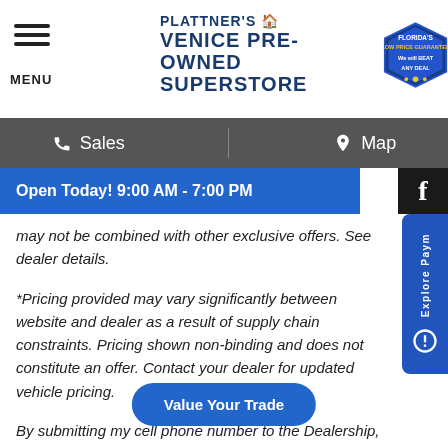PLATTNER'S VENICE PRE-OWNED SUPERSTORE | Florida's Low Price Guarantee - We will BEAT ANY DEAL
Sales  Map
Open Today! 9:00 AM - 7:00 PM
may not be combined with other exclusive offers. See dealer details.
*Pricing provided may vary significantly between website and dealer as a result of supply chain constraints. Pricing shown non-binding and does not constitute an offer. Contact your dealer for updated vehicle pricing.
By submitting my cell phone number to the Dealership, I agree to receive text messages, and phone calls, which may be recorded and/or sent using automated dialing software from Plattner Automotive Group and its affiliates in the future, unless I